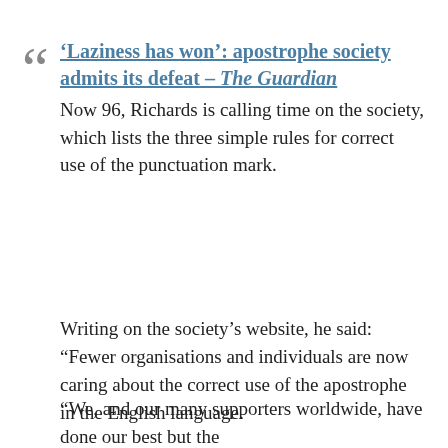'Laziness has won': apostrophe society admits its defeat – The Guardian
Now 96, Richards is calling time on the society, which lists the three simple rules for correct use of the punctuation mark.
Writing on the society's website, he said: “Fewer organisations and individuals are now caring about the correct use of the apostrophe in the English language.
“We, and our many supporters worldwide, have done our best but the